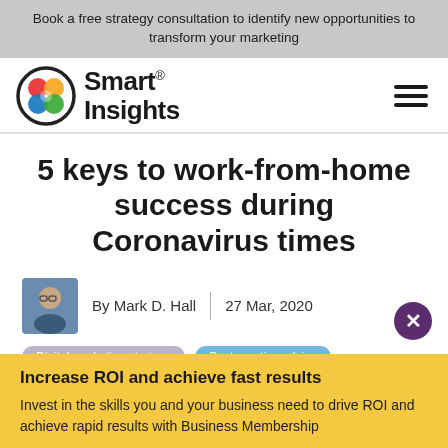Book a free strategy consultation to identify new opportunities to transform your marketing
[Figure (logo): Smart Insights logo with colorful overlapping circles icon and bold text]
5 keys to work-from-home success during Coronavirus times
By Mark D. Hall | 27 Mar, 2020
Digital marketing strategy | Best practice advice
Increase ROI and achieve fast results
Invest in the skills you and your business need to drive ROI and achieve rapid results with Business Membership